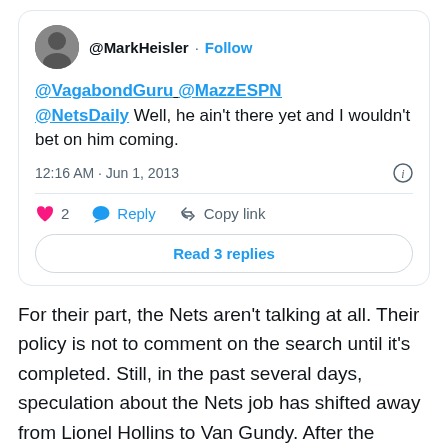[Figure (screenshot): Tweet screenshot from @MarkHeisler with Follow button. Tweet text: @VagabondGuru @MazzESPN @NetsDaily Well, he ain't there yet and I wouldn't bet on him coming. Timestamp: 12:16 AM · Jun 1, 2013. 2 likes, Reply, Copy link actions. Read 3 replies button.]
For their part, the Nets aren't talking at all. Their policy is not to comment on the search until it's completed. Still, in the past several days, speculation about the Nets job has shifted away from Lionel Hollins to Van Gundy. After the Grizzlies got to the Western Conference Finals ... without a contract extension ... Hollins was seen as a front runner for the Brooklyn job